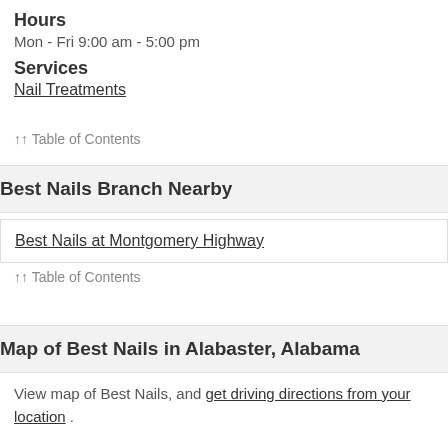Hours
Mon - Fri 9:00 am - 5:00 pm
Services
Nail Treatments
↑↑ Table of Contents
Best Nails Branch Nearby
Best Nails at Montgomery Highway
↑↑ Table of Contents
Map of Best Nails in Alabaster, Alabama
View map of Best Nails, and get driving directions from your location .